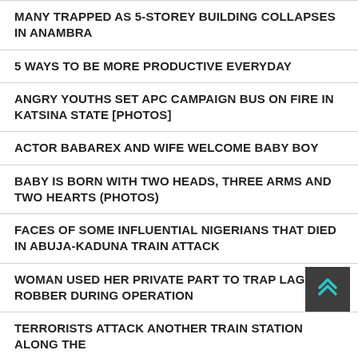MANY TRAPPED AS 5-STOREY BUILDING COLLAPSES IN ANAMBRA
5 WAYS TO BE MORE PRODUCTIVE EVERYDAY
ANGRY YOUTHS SET APC CAMPAIGN BUS ON FIRE IN KATSINA STATE [PHOTOS]
ACTOR BABAREX AND WIFE WELCOME BABY BOY
BABY IS BORN WITH TWO HEADS, THREE ARMS AND TWO HEARTS (PHOTOS)
FACES OF SOME INFLUENTIAL NIGERIANS THAT DIED IN ABUJA-KADUNA TRAIN ATTACK
WOMAN USED HER PRIVATE PART TO TRAP LAGOS ROBBER DURING OPERATION
TERRORISTS ATTACK ANOTHER TRAIN STATION ALONG THE